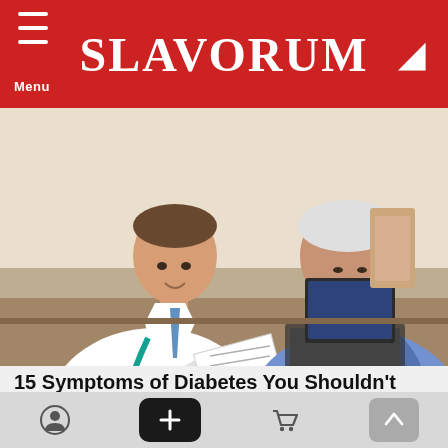SLAVORUM
[Figure (photo): A doctor in a white coat with stethoscope showing a document to an elderly male patient seated across a desk with a keyboard and monitor visible in the background.]
15 Symptoms of Diabetes You Shouldn't Ignore
anymuscle.com
[Figure (photo): Partial thumbnail of another article image at the bottom of the page.]